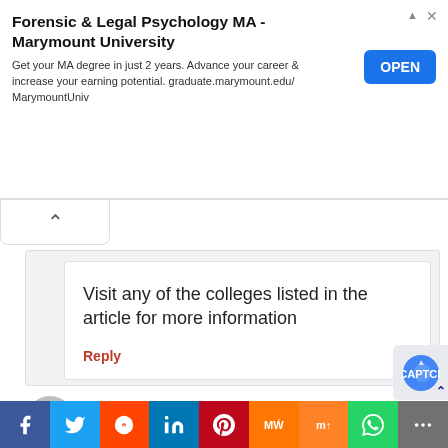[Figure (screenshot): Advertisement banner for Forensic & Legal Psychology MA at Marymount University with OPEN button]
Forensic & Legal Psychology MA - Marymount University
Get your MA degree in just 2 years. Advance your career & increase your earning potential. graduate.marymount.edu/MarymountUniv
Visit any of the colleges listed in the article for more information
Reply
Brian njapit
May 14, 2022 at 4:53 pm
[Figure (infographic): Social sharing bar with Facebook, Twitter, Reddit, LinkedIn, Pinterest, MeWe, Mix, WhatsApp, and More buttons]